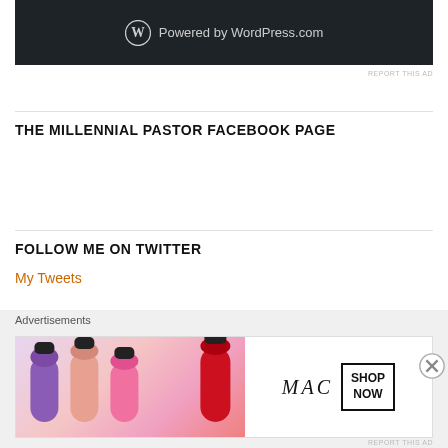[Figure (screenshot): WordPress.com powered banner — dark background with WordPress logo and text 'Powered by WordPress.com']
REPORT THIS AD
THE MILLENNIAL PASTOR FACEBOOK PAGE
FOLLOW ME ON TWITTER
My Tweets
ARCHIVES
Advertisements
[Figure (photo): MAC cosmetics advertisement showing lipsticks in purple, pink, and red colors with MAC logo and 'SHOP NOW' box]
REPORT THIS AD